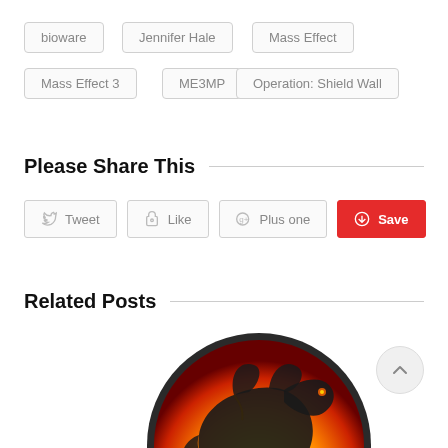bioware
Jennifer Hale
Mass Effect
Mass Effect 3
ME3MP
Operation: Shield Wall
Please Share This
Tweet  Like  Plus one  Save
Related Posts
[Figure (photo): Mortal Kombat dragon logo: a stylized black dragon on a fiery orange-red circular emblem]